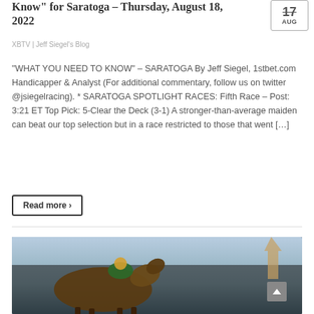Know" for Saratoga – Thursday, August 18, 2022
XBTV | Jeff Siegel's Blog
"WHAT YOU NEED TO KNOW" – SARATOGA By Jeff Siegel, 1stbet.com Handicapper & Analyst (For additional commentary, follow us on twitter @jsiegelracing). * SARATOGA SPOTLIGHT RACES: Fifth Race – Post: 3:21 ET Top Pick: 5-Clear the Deck (3-1) A stronger-than-average maiden can beat our top selection but in a race restricted to those that went […]
Read more ›
[Figure (photo): A jockey on a racehorse in close-up action shot at Saratoga race track, with a green and yellow silks, warm golden light, and a building spire visible in the background.]